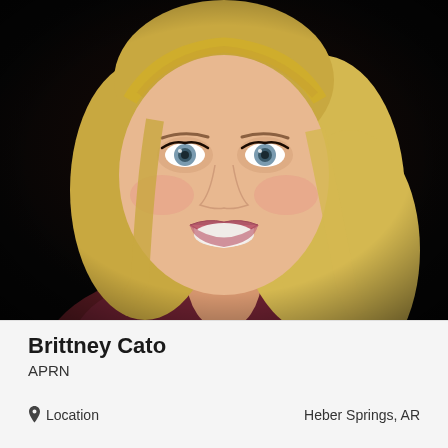[Figure (photo): Professional headshot of Brittney Cato, a woman with long blonde wavy hair, blue eyes, wearing a dark maroon/burgundy top, smiling against a dark background.]
Brittney Cato
APRN
Location   Heber Springs, AR